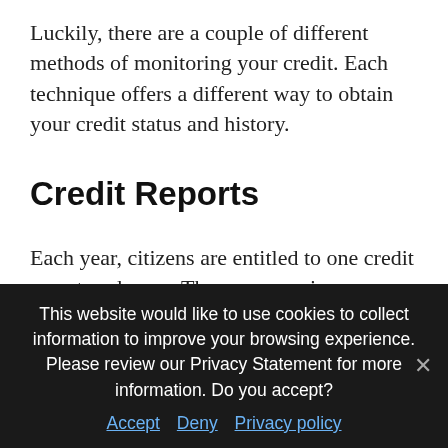Luckily, there are a couple of different methods of monitoring your credit. Each technique offers a different way to obtain your credit status and history.
Credit Reports
Each year, citizens are entitled to one credit report each year. These summaries come from three prominent credit bureaus: Equifax, Experian and TransUnion. After recognizing the challenge of today's COVID-19 economy, these organizations are investing more of these resources to consumers. Weekly online
This website would like to use cookies to collect information to improve your browsing experience. Please review our Privacy Statement for more information. Do you accept?
Accept   Deny   Privacy policy